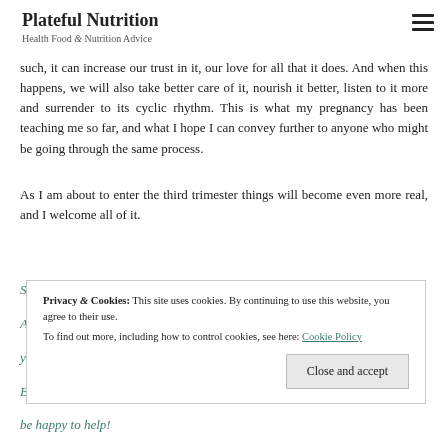Plateful Nutrition
Health Food & Nutrition Advice
such, it can increase our trust in it, our love for all that it does. And when this happens, we will also take better care of it, nourish it better, listen to it more and surrender to its cyclic rhythm. This is what my pregnancy has been teaching me so far, and what I hope I can convey further to anyone who might be going through the same process.
As I am about to enter the third trimester things will become even more real, and I welcome all of it.
Privacy & Cookies: This site uses cookies. By continuing to use this website, you agree to their use.
To find out more, including how to control cookies, see here: Cookie Policy
Close and accept